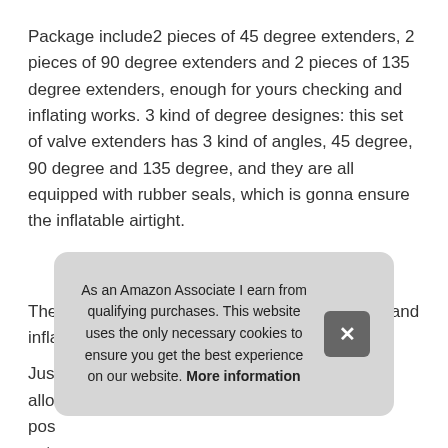Package include2 pieces of 45 degree extenders, 2 pieces of 90 degree extenders and 2 pieces of 135 degree extenders, enough for yours checking and inflating works. 3 kind of degree designes: this set of valve extenders has 3 kind of angles, 45 degree, 90 degree and 135 degree, and they are all equipped with rubber seals, which is gonna ensure the inflatable airtight.
More information #ad
These valve extension adapter makes checking and inflating your dual tires easy.
Just allow pos exte
and heavy trucks, Trailers, RV and recreational vehicles with
As an Amazon Associate I earn from qualifying purchases. This website uses the only necessary cookies to ensure you get the best experience on our website. More information